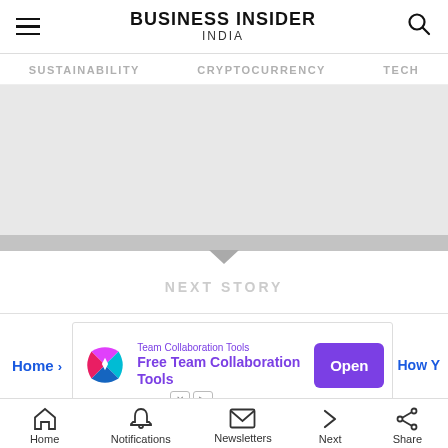BUSINESS INSIDER INDIA
SUSTAINABILITY   CRYPTOCURRENCY   TECH
[Figure (photo): Gray placeholder image for article content]
NEXT STORY
[Figure (other): Advertisement banner: Team Collaboration Tools - Free Team Collaboration Tools. Open button.]
Home   Notifications   Newsletters   Next   Share